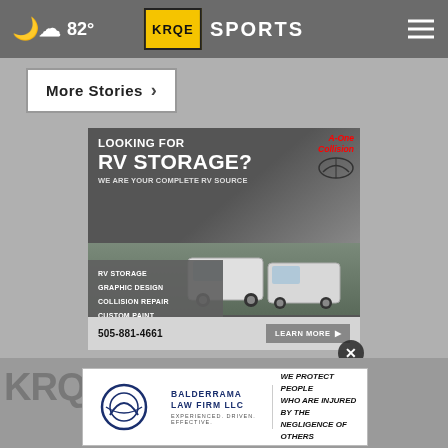82° KRQE SPORTS
More Stories →
[Figure (advertisement): A-One Collision RV Storage advertisement. Looking for RV Storage? We are your complete RV source. Services: RV Storage, Graphic Design, Collision Repair, Custom Paint. Phone: 505-881-4661. Learn More button.]
[Figure (advertisement): Balderrama Law Firm LLC advertisement. We protect people who are injured by the negligence of others.]